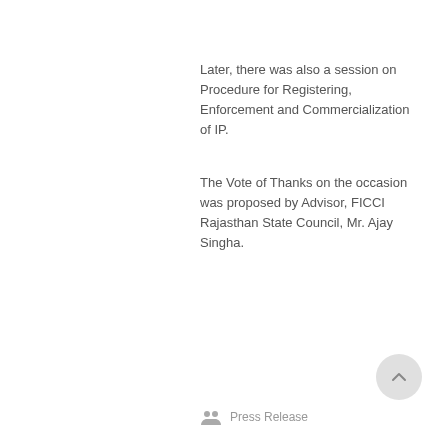Later, there was also a session on Procedure for Registering, Enforcement and Commercialization of IP.
The Vote of Thanks on the occasion was proposed by Advisor, FICCI Rajasthan State Council, Mr. Ajay Singha.
Press Release